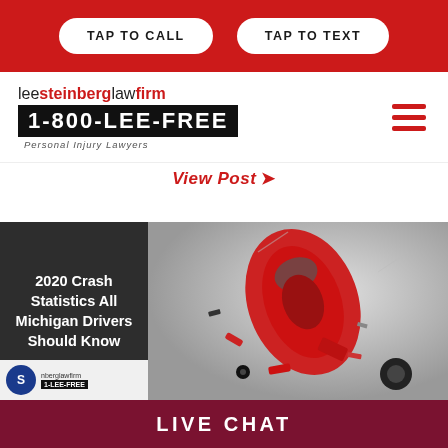TAP TO CALL | TAP TO TEXT
[Figure (logo): Lee Steinberg Law Firm logo with 1-800-LEE-FREE phone number and 'Personal Injury Lawyers' tagline]
View Post →
[Figure (illustration): Blog post card showing text '2020 Crash Statistics All Michigan Drivers Should Know' on dark background alongside a 3D rendered image of a red car crash with debris]
LIVE CHAT